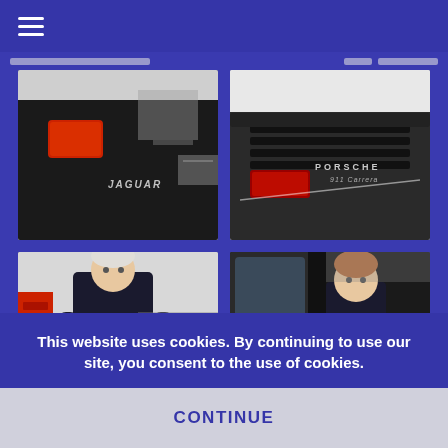[Figure (screenshot): Website screenshot showing a dark blue background with a hamburger menu icon in the top left, four automotive photos arranged in a 2x2 grid (Jaguar car rear in workshop, Porsche 911 Carrera rear detail, mechanic looking at tablet in workshop, young mechanic working inside a car), a cookie consent banner overlay, and a continue button at the bottom.]
This website uses cookies. By continuing to use our site, you consent to the use of cookies.
CONTINUE